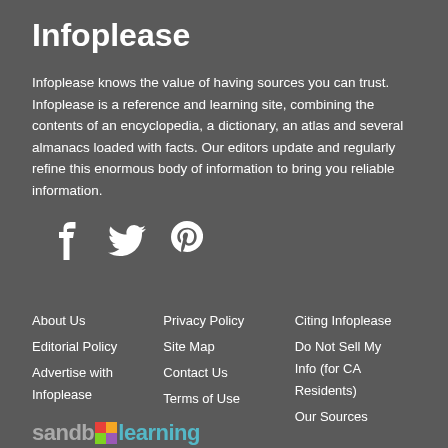Infoplease
Infoplease knows the value of having sources you can trust. Infoplease is a reference and learning site, combining the contents of an encyclopedia, a dictionary, an atlas and several almanacs loaded with facts. Our editors update and regularly refine this enormous body of information to bring you reliable information.
[Figure (other): Social media icons: Facebook, Twitter, Pinterest]
About Us
Editorial Policy
Advertise with Infoplease
Privacy Policy
Site Map
Contact Us
Terms of Use
Citing Infoplease
Do Not Sell My Info (for CA Residents)
Our Sources
[Figure (logo): Sandbox Learning logo]